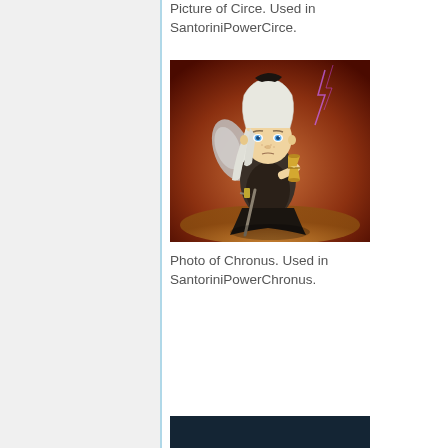Picture of Circe. Used in SantoriniPowerCirce.
[Figure (illustration): Chibi-style illustration of Chronus character: a small fantasy figure with white hair, blue eyes, wings, dark robes, holding an hourglass and a sword. Background shows lightning and warm orange tones.]
Photo of Chronus. Used in SantoriniPowerChronus.
[Figure (photo): Partial view of another image at the bottom of the page, dark teal background.]